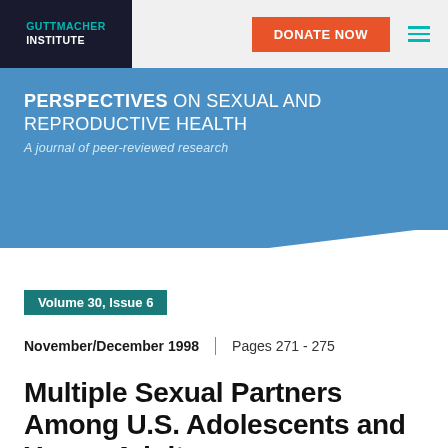GUTTMACHER INSTITUTE
PERSPECTIVES ON SEXUAL AND REPRODUCTIVE HEALTH
A journal of peer-reviewed research
Volume 30, Issue 6
November/December 1998 | Pages 271 - 275
Multiple Sexual Partners Among U.S. Adolescents and Young Adults